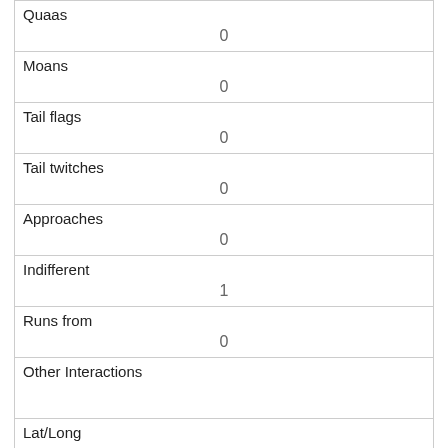| Quaas | 0 |
| Moans | 0 |
| Tail flags | 0 |
| Tail twitches | 0 |
| Approaches | 0 |
| Indifferent | 1 |
| Runs from | 0 |
| Other Interactions |  |
| Lat/Long | POINT (-73.9528462779437 40.7923843043685) |
| Link | 861 |